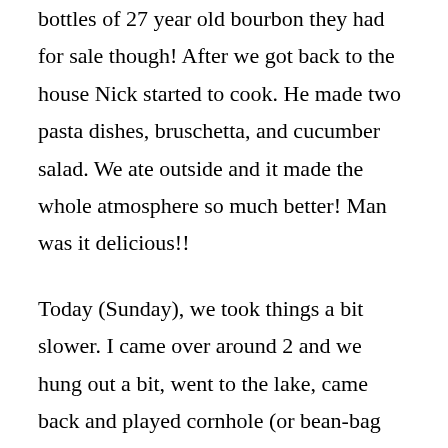bottles of 27 year old bourbon they had for sale though! After we got back to the house Nick started to cook. He made two pasta dishes, bruschetta, and cucumber salad. We ate outside and it made the whole atmosphere so much better! Man was it delicious!!
Today (Sunday), we took things a bit slower. I came over around 2 and we hung out a bit, went to the lake, came back and played cornhole (or bean-bag toss for some of you) for hours, while dad was grilling up the pork